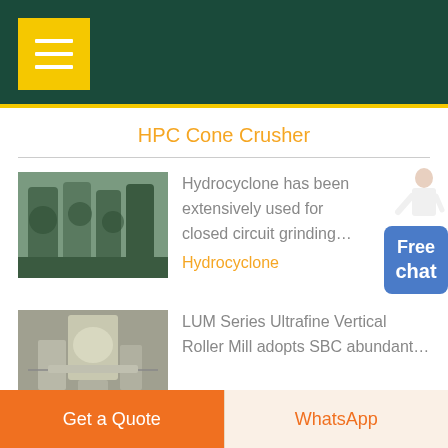[Figure (screenshot): Dark teal header bar with yellow hamburger menu button]
HPC Cone Crusher
[Figure (photo): Industrial hydrocyclone equipment photo]
Hydrocyclone has been extensively used for closed circuit grinding…
Hydrocyclone
[Figure (photo): LUM Series Ultrafine Vertical Roller Mill industrial equipment photo]
LUM Series Ultrafine Vertical Roller Mill adopts SBC abundant…
Get a Quote
WhatsApp